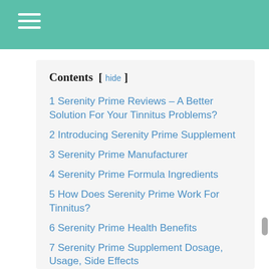Contents
1 Serenity Prime Reviews – A Better Solution For Your Tinnitus Problems?
2 Introducing Serenity Prime Supplement
3 Serenity Prime Manufacturer
4 Serenity Prime Formula Ingredients
5 How Does Serenity Prime Work For Tinnitus?
6 Serenity Prime Health Benefits
7 Serenity Prime Supplement Dosage, Usage, Side Effects